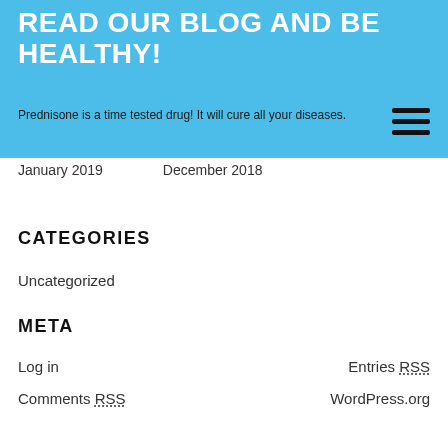READ OUR BLOG AND BE HEALTHY!
Prednisone is a time tested drug! It will cure all your diseases.
January 2019
December 2018
CATEGORIES
Uncategorized
META
Log in
Entries RSS
Comments RSS
WordPress.org